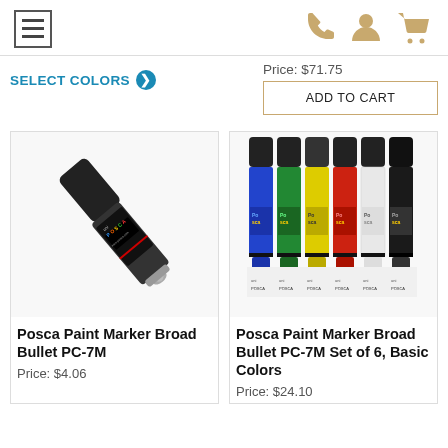Navigation header with hamburger menu and icons (phone, account, cart)
Price: $71.75
SELECT COLORS →
ADD TO CART
[Figure (photo): Posca Paint Marker Broad Bullet PC-7M single gray marker with black cap, POSCA logo label]
Posca Paint Marker Broad Bullet PC-7M
Price: $4.06
[Figure (photo): Posca Paint Marker Broad Bullet PC-7M Set of 6 Basic Colors — blue, green, yellow, red, white, black markers lined up]
Posca Paint Marker Broad Bullet PC-7M Set of 6, Basic Colors
Price: $24.10